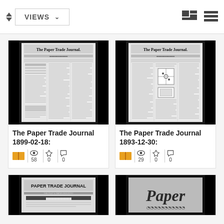[Figure (screenshot): UI toolbar with VIEWS dropdown, grid icon, and list icon]
[Figure (photo): Thumbnail of The Paper Trade Journal 1899-02-18 newspaper front page]
The Paper Trade Journal 1899-02-18:
58  0  0
[Figure (photo): Thumbnail of The Paper Trade Journal 1893-12-30 newspaper front page]
The Paper Trade Journal 1893-12-30:
29  0  0
[Figure (photo): Thumbnail of Paper Trade Journal with bold masthead (partially visible)]
[Figure (photo): Thumbnail of paper publication with stylized cursive logo (partially visible)]